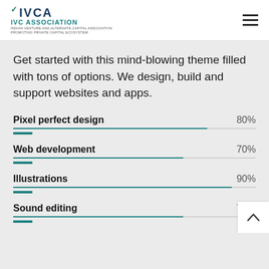IVCA IVC ASSOCIATION INDIAN VENTURE AND ALTERNATE CAPITAL ASSOCIATION PROMOTING PRIVATE CAPITAL ECOSYSTEM
Get started with this mind-blowing theme filled with tons of options. We design, build and support websites and apps.
Pixel perfect design 80%
Web development 70%
Illustrations 90%
Sound editing 70%